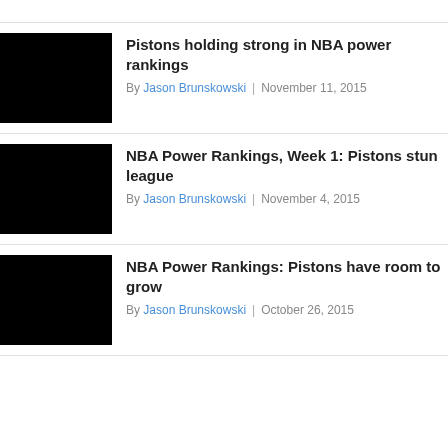Pistons holding strong in NBA power rankings
By Jason Brunskowski | November 11, 2015
NBA Power Rankings, Week 1: Pistons stun league
By Jason Brunskowski | November 4, 2015
NBA Power Rankings: Pistons have room to grow
By Jason Brunskowski | October 26, 2015